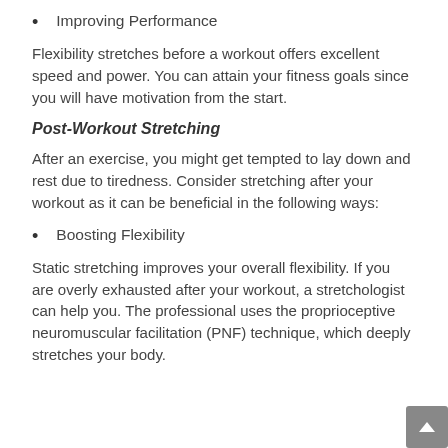Improving Performance
Flexibility stretches before a workout offers excellent speed and power. You can attain your fitness goals since you will have motivation from the start.
Post-Workout Stretching
After an exercise, you might get tempted to lay down and rest due to tiredness. Consider stretching after your workout as it can be beneficial in the following ways:
Boosting Flexibility
Static stretching improves your overall flexibility. If you are overly exhausted after your workout, a stretchologist can help you. The professional uses the proprioceptive neuromuscular facilitation (PNF) technique, which deeply stretches your body.